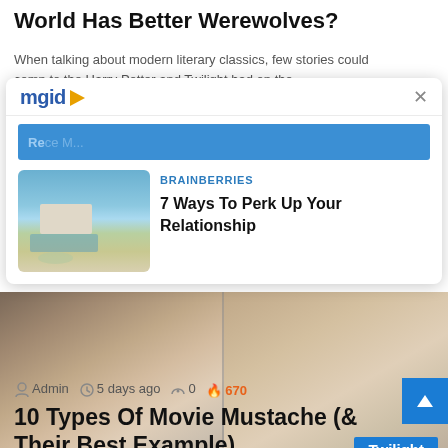World Has Better Werewolves?
When talking about modern literary classics, few stories could comp to the... Harry Potter and Twilight had on the...
[Figure (screenshot): MGID sponsored content overlay card showing a villa/pool image with the headline '7 Ways To Perk Up Your Relationship' from BRAINBERRIES]
[Figure (photo): Side-by-side photos of two men with mustaches from movies, with a 'Twilight' label in the bottom-right corner]
Admin  5 days ago  0  670
10 Types Of Movie Mustache (& Their Best Example)